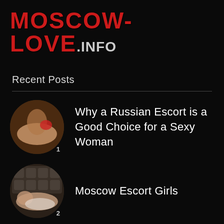MOSCOW-LOVE.INFO
Recent Posts
[Figure (photo): Circular thumbnail photo 1 with number 1]
Why a Russian Escort is a Good Choice for a Sexy Woman
[Figure (photo): Circular thumbnail photo 2 with number 2]
Moscow Escort Girls